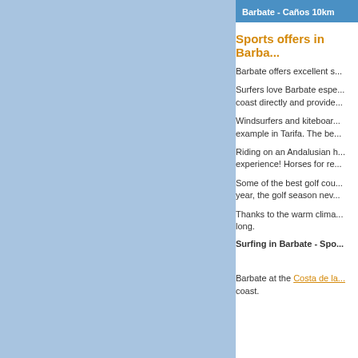Barbate - Caños 10km
Sports offers in Barba...
Barbate offers excellent s...
Surfers love Barbate espe... coast directly and provide...
Windsurfers and kiteboar... example in Tarifa. The be...
Riding on an Andalusian h... experience! Horses for re...
Some of the best golf cou... year, the golf season nev...
Thanks to the warm clima... long.
Surfing in Barbate - Spo...
Barbate at the Costa de la... coast.